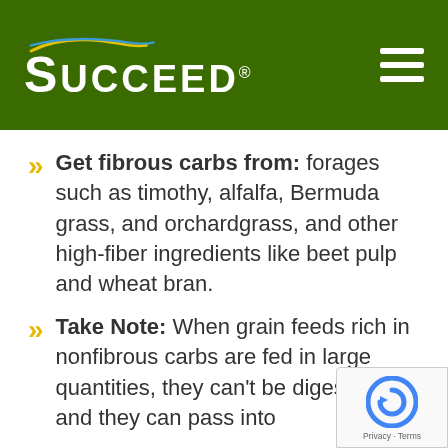SUCCEED® (logo with swooshes)
Get fibrous carbs from: forages such as timothy, alfalfa, Bermuda grass, and orchardgrass, and other high-fiber ingredients like beet pulp and wheat bran.
Take Note: When grain feeds rich in nonfibrous carbs are fed in large quantities, they can't be digested and they can pass into the...